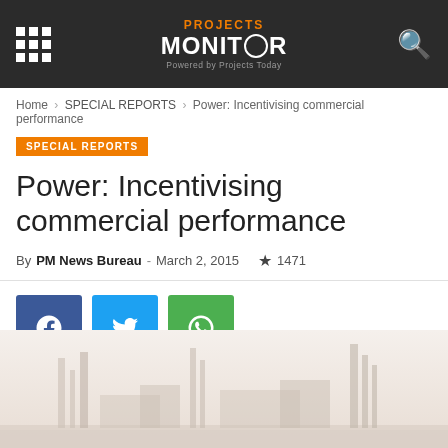Projects Monitor - Powered by Projects Today
Home > SPECIAL REPORTS > Power: Incentivising commercial performance
SPECIAL REPORTS
Power: Incentivising commercial performance
By PM News Bureau - March 2, 2015  1471
[Figure (illustration): Social sharing buttons: Facebook (blue), Twitter (light blue), WhatsApp (green)]
[Figure (photo): Industrial/power plant skyline photograph with muted tones]